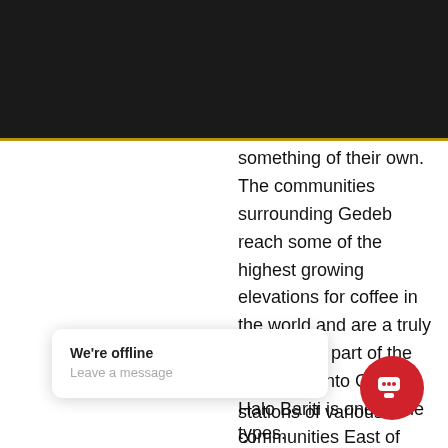[Figure (other): Dark black header band at the top of the page with a gold/yellow horizontal rule below it]
something of their own. The communities surrounding Gedeb reach some of the highest growing elevations for coffee in the world and are a truly enchanting part of the long drive into Guji. Halo Bariti is one of the communities East of Gedeb and includes cooperative members that are [obscured], as [obscured] sing stations of various types.
[Figure (screenshot): Live chat widget overlay showing 'We're offline' and 'Leave a message' text, with a red circular chat button icon in the bottom right]